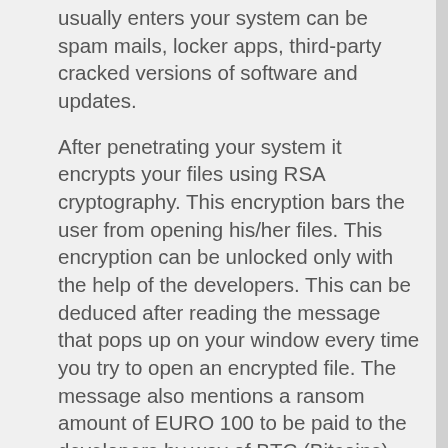usually enters your system can be spam mails, locker apps, third-party cracked versions of software and updates.
After penetrating your system it encrypts your files using RSA cryptography. This encryption bars the user from opening his/her files. This encryption can be unlocked only with the help of the developers. This can be deduced after reading the message that pops up on your window every time you try to open an encrypted file. The message also mentions a ransom amount of EURO 100 to be paid to the developers by way of BTC (Bitcoins).
How did it infect your PC?
Distribution Techniques-
This type of encryption ransomware attacks the system as soon it gets a safe passage to your computer. This passage is the download and installations of third-party software, spam mails, fake software updates, malicious web-pages and many other sources. All these techniques exhibit same behavior somehow. By the moment you click on or download any of the infections means listed above, a process will run in the background. The background process involves the cryptographic encryptions that